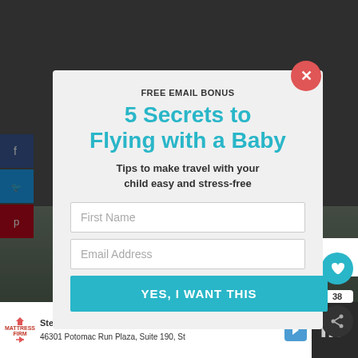[Figure (screenshot): Website screenshot with dark overlay showing a modal popup for email signup, social share buttons on left, and an advertisement bar at bottom]
FREE EMAIL BONUS
5 Secrets to Flying with a Baby
Tips to make travel with your child easy and stress-free
First Name
Email Address
YES, I WANT THIS
WHAT'S NEXT → Halloween October Half-...
Sterling OPEN 10AM–9PM 46301 Potomac Run Plaza, Suite 190, St